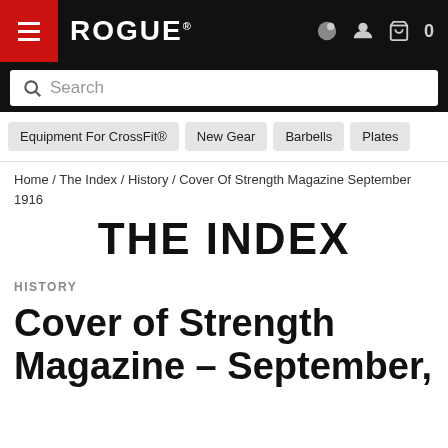ROGUE
Search
Equipment For CrossFit®  New Gear  Barbells  Plates
Home / The Index / History / Cover Of Strength Magazine September 1916
THE INDEX
HISTORY
Cover of Strength Magazine – September,